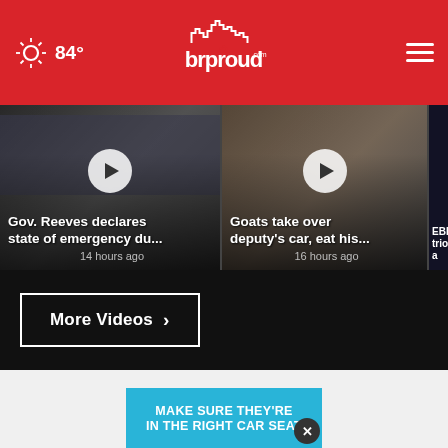84° brproud.com
[Figure (screenshot): Video thumbnail: Gov. Reeves declares state of emergency du... 14 hours ago]
[Figure (screenshot): Video thumbnail: Goats take over deputy's car, eat his... 16 hours ago]
[Figure (screenshot): Partial video thumbnail: EBRSO trio a...]
More Videos ›
[Figure (infographic): MAKE SURE THEY'RE IN THE RIGHT CAR SEAT — car seat safety advertisement with close button (×)]
[Figure (infographic): AARP ad: It's not too late to take charge of your retirement. Get your top 3 tips →]